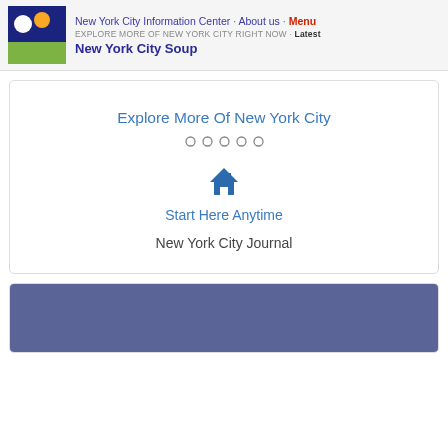New York City Information Center · About us · Menu
EXPLORE MORE OF NEW YORK CITY RIGHT NOW · Latest
New York City Soup
[Figure (infographic): Explore More Of New York City slideshow card with dots navigation, home icon, 'Start Here Anytime' link, and 'New York City Journal' text]
[Figure (photo): Blue-purple image at bottom of page inside a card]